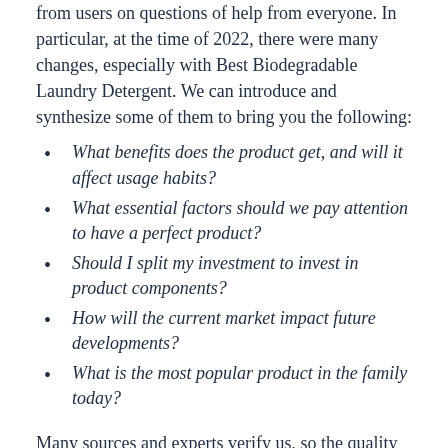from users on questions of help from everyone. In particular, at the time of 2022, there were many changes, especially with Best Biodegradable Laundry Detergent. We can introduce and synthesize some of them to bring you the following:
What benefits does the product get, and will it affect usage habits?
What essential factors should we pay attention to have a perfect product?
Should I split my investment to invest in product components?
How will the current market impact future developments?
What is the most popular product in the family today?
Many sources and experts verify us, so the quality of the information can be assured, all from reliable sources through careful synthesis and selection. In